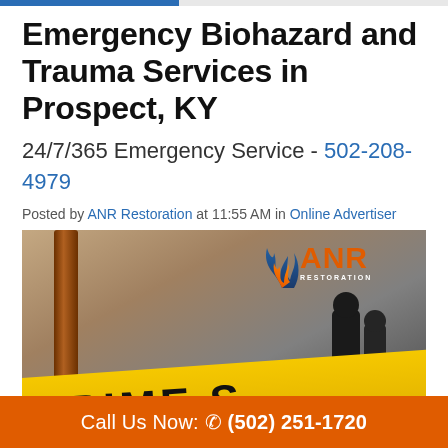Emergency Biohazard and Trauma Services in Prospect, KY
24/7/365 Emergency Service - 502-208-4979
Posted by ANR Restoration at 11:55 AM in Online Advertiser
[Figure (photo): Crime scene tape reading 'CRIME' with dark background silhouettes and ANR Restoration logo overlay in top right]
Call Us Now: ☎ (502) 251-1720